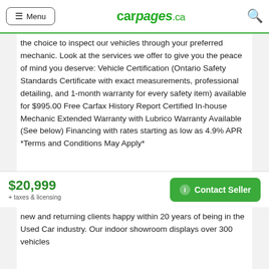Menu | carpages.ca | Search
the choice to inspect our vehicles through your preferred mechanic. Look at the services we offer to give you the peace of mind you deserve: Vehicle Certification (Ontario Safety Standards Certificate with exact measurements, professional detailing, and 1-month warranty for every safety item) available for $995.00 Free Carfax History Report Certified In-house Mechanic Extended Warranty with Lubrico Warranty Available (See below) Financing with rates starting as low as 4.9% APR *Terms and Conditions May Apply*
$20,999
+ taxes & licensing
Contact Seller
new and returning clients happy within 20 years of being in the Used Car industry. Our indoor showroom displays over 300 vehicles